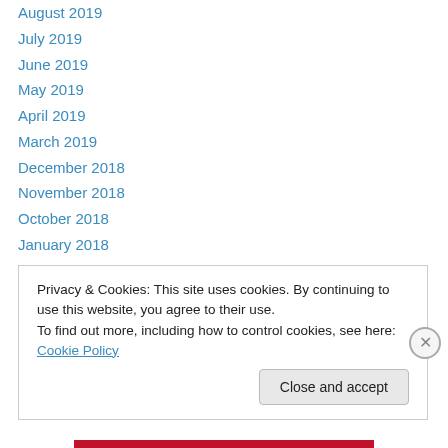August 2019
July 2019
June 2019
May 2019
April 2019
March 2019
December 2018
November 2018
October 2018
January 2018
November 2017
October 2017
September 2017
Privacy & Cookies: This site uses cookies. By continuing to use this website, you agree to their use.
To find out more, including how to control cookies, see here: Cookie Policy
Close and accept